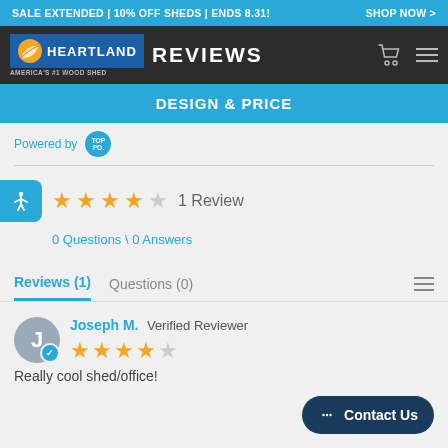SALE EXTENDED | 10% OFF SHEDS | ENDS 8.31!  SHOP NOW >
[Figure (logo): Heartland logo with orange and white shell icon, blue background, text HEARTLAND AMERICA'S #1 WOOD SHED, followed by REVIEWS heading]
DESIGN & PRICE
Powered by [TopPo badge]
★★★★☆ 1 Review
0 Questions \ 0 Answers
Reviews (1)   Questions (0)
Joseph M. Verified Reviewer ★★★★☆
Really cool shed/office!